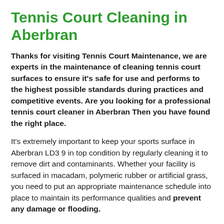Tennis Court Cleaning in Aberbran
Thanks for visiting Tennis Court Maintenance, we are experts in the maintenance of cleaning tennis court surfaces to ensure it's safe for use and performs to the highest possible standards during practices and competitive events. Are you looking for a professional tennis court cleaner in Aberbran Then you have found the right place.
It's extremely important to keep your sports surface in Aberbran LD3 9 in top condition by regularly cleaning it to remove dirt and contaminants. Whether your facility is surfaced in macadam, polymeric rubber or artificial grass, you need to put an appropriate maintenance schedule into place to maintain its performance qualities and prevent any damage or flooding.
Cleaning your facility on a regular basis will extend its life expectancy, improve the safety of the surface and remove any debris from the permeable surfacing layers. If you don't carry out the...